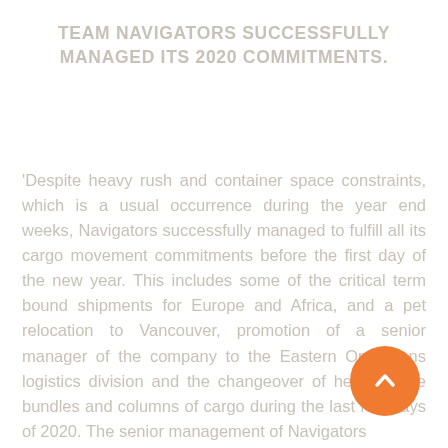TEAM NAVIGATORS SUCCESSFULLY MANAGED ITS 2020 COMMITMENTS.
'Despite heavy rush and container space constraints, which is a usual occurrence during the year end weeks, Navigators successfully managed to fulfill all its cargo movement commitments before the first day of the new year. This includes some of the critical term bound shipments for Europe and Africa, and a pet relocation to Vancouver, promotion of a senior manager of the company to the Eastern Operations logistics division and the changeover of heavy move bundles and columns of cargo during the last few days of 2020. The senior management of Navigators